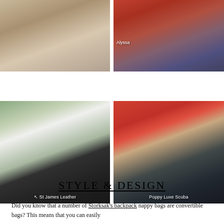[Figure (photo): Top-left photo: woman from behind wearing a beige/cream outfit, carrying a dark bag, with a child nearby.]
[Figure (photo): Top-right photo: woman in white holding a navy blue structured bag labeled 'Alyssa', standing near a red/terracotta wall.]
[Figure (photo): Bottom-left photo: blonde woman wearing sunglasses and a teal top, carrying a black leather backpack labeled 'St James Leather', outdoors with flowers.]
[Figure (photo): Bottom-right photo: woman in a red outfit holding a baby, seen from behind, carrying a dark backpack labeled 'Poppy Luxe Scuba'.]
STYLE & DESIGN
Did you know that a number of Storksak's backpack nappy bags are convertible bags? This means that you can easily